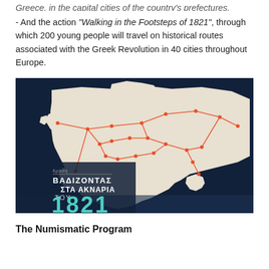- And the action "Walking in the Footsteps of 1821", through which 200 young people will travel on historical routes associated with the Greek Revolution in 40 cities throughout Europe.
[Figure (map): A dark blue map of Europe showing historical routes connected by orange lines between multiple cities, with the text 'ΒΑΔΙΖΟΝΤΑΣ ΣΤΑ ΑΚΝΑΡΙΑ ΤΟΥ 1821' overlaid in large teal/white letters at the bottom left.]
The Numismatic Program